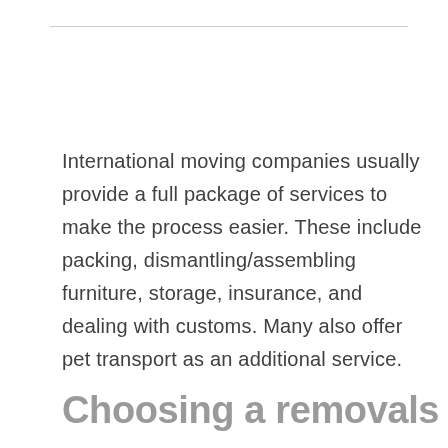International moving companies usually provide a full package of services to make the process easier. These include packing, dismantling/assembling furniture, storage, insurance, and dealing with customs. Many also offer pet transport as an additional service.
Choosing a removals